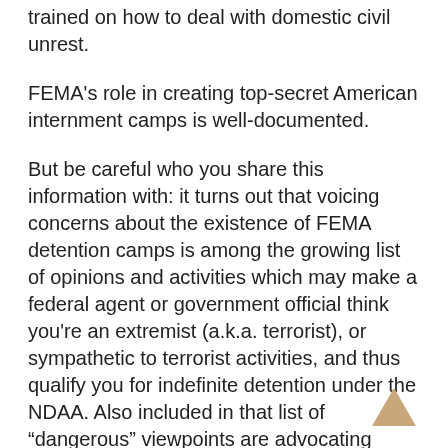trained on how to deal with domestic civil unrest.
FEMA's role in creating top-secret American internment camps is well-documented.
But be careful who you share this information with: it turns out that voicing concerns about the existence of FEMA detention camps is among the growing list of opinions and activities which may make a federal agent or government official think you're an extremist (a.k.a. terrorist), or sympathetic to terrorist activities, and thus qualify you for indefinite detention under the NDAA. Also included in that list of “dangerous” viewpoints are advocating states’ rights, believing the state to be unnecessary or undesirable, “conspiracy theorizing,” concern about alleged FEMA camps, opposition to war, organizing for “economic justice,” frustration with “mainstream ideologies.”